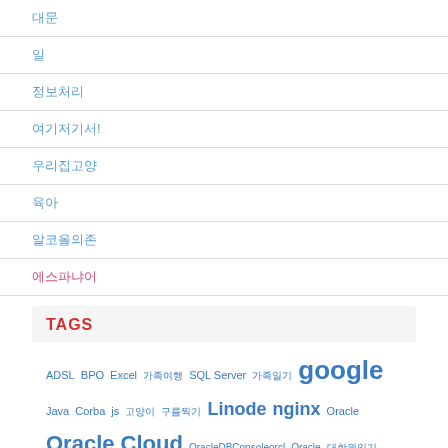대문
일
정보처리
여기저기서!
우리집고양
육아
알코올의존
에스파냐어
TAGS
ADSL BPO Excel 가족여행 SQL Server 가족일기 google Java Corba js 고양이 구름찍기 Linode nginx Oracle Oracle Cloud OracleDBConsoleorcl Oracle 대학원일기 ReportingServices RSS SiteMesh 멍청이 InterStage UI 블로그관리 WangNa 분노 whois 사회무용 BPO SaaS 고 씨발 싿도를못찾겠 가족여행중에서 FFCS 짐보관서비스 이 집 고 양 이 와 이 놈 저 놈 의